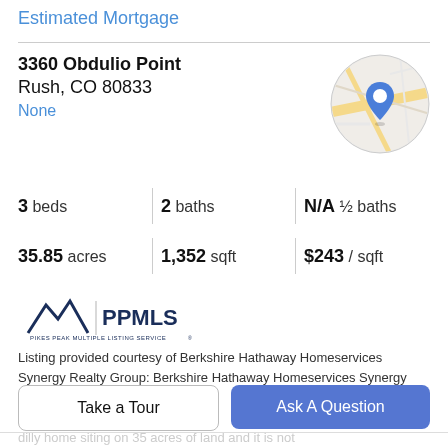Estimated Mortgage
3360 Obdulio Point
Rush, CO 80833
None
[Figure (map): Circular map thumbnail showing street map with blue location pin marker]
3 beds | 2 baths | N/A ½ baths
35.85 acres | 1,352 sqft | $243 / sqft
[Figure (logo): Pikes Peak Multiple Listing Service (PPMLS) logo with mountain graphic]
Listing provided courtesy of Berkshire Hathaway Homeservices Synergy Realty Group: Berkshire Hathaway Homeservices Synergy Realty Group.
Property Description
Take a Tour
Ask A Question